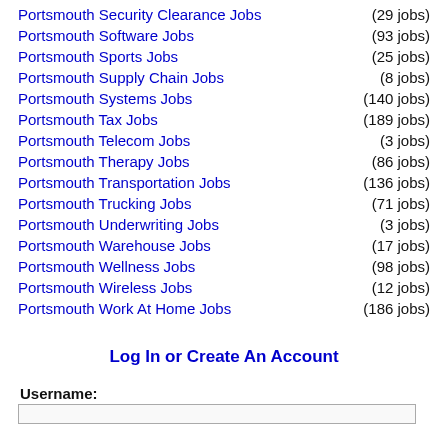Portsmouth Security Clearance Jobs (29 jobs)
Portsmouth Software Jobs (93 jobs)
Portsmouth Sports Jobs (25 jobs)
Portsmouth Supply Chain Jobs (8 jobs)
Portsmouth Systems Jobs (140 jobs)
Portsmouth Tax Jobs (189 jobs)
Portsmouth Telecom Jobs (3 jobs)
Portsmouth Therapy Jobs (86 jobs)
Portsmouth Transportation Jobs (136 jobs)
Portsmouth Trucking Jobs (71 jobs)
Portsmouth Underwriting Jobs (3 jobs)
Portsmouth Warehouse Jobs (17 jobs)
Portsmouth Wellness Jobs (98 jobs)
Portsmouth Wireless Jobs (12 jobs)
Portsmouth Work At Home Jobs (186 jobs)
Log In or Create An Account
Username: